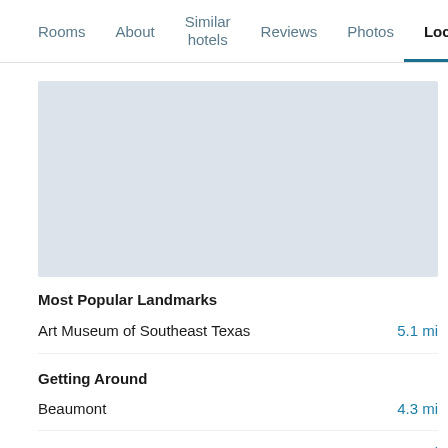Rooms  About  Similar hotels  Reviews  Photos  Loca
[Figure (map): Map placeholder showing hotel location area, light blue-grey background]
Most Popular Landmarks
Art Museum of Southeast Texas    5.1 mi
Getting Around
Beaumont    4.3 mi
Beaumont Exxon Bus stop    4.7 mi